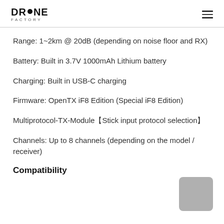DRONE FACTORY
Range: 1~2km @ 20dB (depending on noise floor and RX)
Battery: Built in 3.7V 1000mAh Lithium battery
Charging: Built in USB-C charging
Firmware: OpenTX iF8 Edition (Special iF8 Edition)
Multiprotocol-TX-Module【Stick input protocol selection】
Channels: Up to 8 channels (depending on the model / receiver)
Compatibility